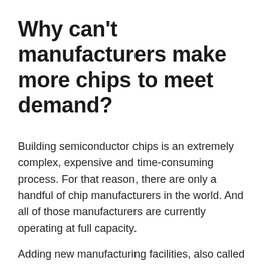Why can't manufacturers make more chips to meet demand?
Building semiconductor chips is an extremely complex, expensive and time-consuming process. For that reason, there are only a handful of chip manufacturers in the world. And all of those manufacturers are currently operating at full capacity.
Adding new manufacturing facilities, also called